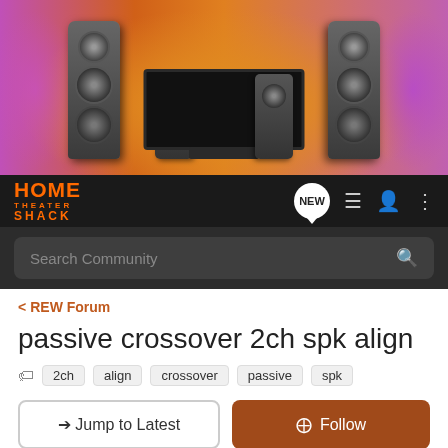[Figure (photo): Home theater banner image showing speakers, TV, and colorful background]
[Figure (logo): Home Theater Shack logo in orange, with NEW badge and navigation icons]
Search Community
< REW Forum
passive crossover 2ch spk align
2ch
align
crossover
passive
spk
→ Jump to Latest
+ Follow
1 - 9 of 9 Posts
rewjack · Registered